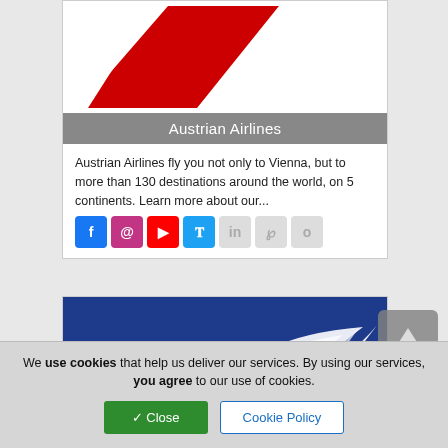[Figure (logo): Austrian Airlines logo — diagonal red stripe on white background]
Austrian Airlines
Austrian Airlines fly you not only to Vienna, but to more than 130 destinations around the world, on 5 continents. Learn more about our...
[Figure (logo): Air France / airline logo on blue background — white bird/wing swoosh mark]
We use cookies that help us deliver our services. By using our services, you agree to our use of cookies.
✓ Close   Cookie Policy